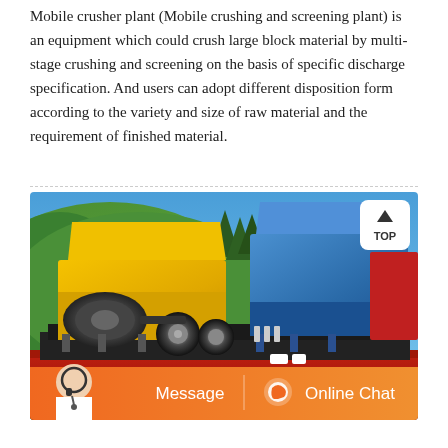Mobile crusher plant (Mobile crushing and screening plant) is an equipment which could crush large block material by multi-stage crushing and screening on the basis of specific discharge specification. And users can adopt different disposition form according to the variety and size of raw material and the requirement of finished material.
[Figure (photo): Photograph of yellow and blue mobile crusher plant equipment loaded on a red truck, set against a hillside with green vegetation and blue sky background. A 'TOP' button overlay is visible in the upper right corner of the image. An orange chat bar with a customer service agent avatar, 'Message' and 'Online Chat' buttons appears at the bottom of the image.]